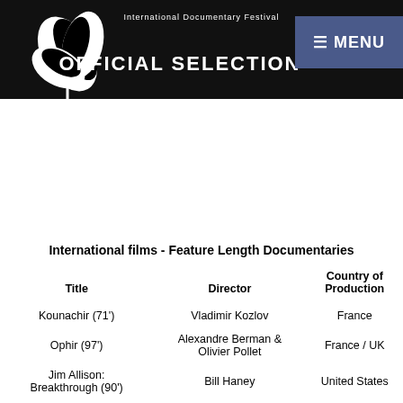[Figure (screenshot): Festival header banner showing leaf logo and 'International Documentary Festival - OFFICIAL SELECTION' text on black background, with a blue MENU button in top right]
International films - Feature Length Documentaries
| Title | Director | Country of Production |
| --- | --- | --- |
| Kounachir (71') | Vladimir Kozlov | France |
| Ophir (97') | Alexandre Berman & Olivier Pollet | France / UK |
| Jim Allison: Breakthrough (90') | Bill Haney | United States |
| Comrade Dov (75') | Barak Heymann | Israel |
| Mendil (63') | Chrystalla Avgousti | Cyprus |
| And the alley she whitewashed in light blue (72') | Nili Portugali | Israel |